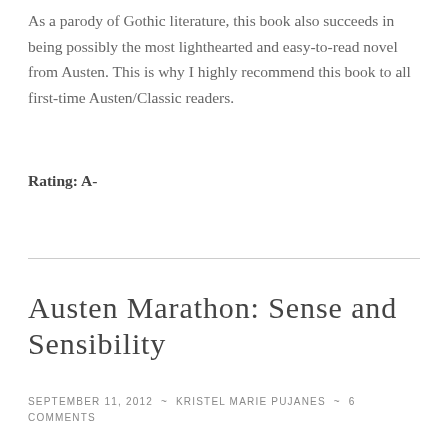As a parody of Gothic literature, this book also succeeds in being possibly the most lighthearted and easy-to-read novel from Austen. This is why I highly recommend this book to all first-time Austen/Classic readers.
Rating: A-
Austen Marathon: Sense and Sensibility
September 11, 2012 ~ Kristel Marie Pujanes ~ 6 Comments